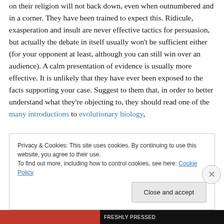on their religion will not back down, even when outnumbered and in a corner. They have been trained to expect this. Ridicule, exasperation and insult are never effective tactics for persuasion, but actually the debate in itself usually won't be sufficient either (for your opponent at least, although you can still win over an audience). A calm presentation of evidence is usually more effective. It is unlikely that they have ever been exposed to the facts supporting your case. Suggest to them that, in order to better understand what they're objecting to, they should read one of the many introductions to evolutionary biology,
Privacy & Cookies: This site uses cookies. By continuing to use this website, you agree to their use. To find out more, including how to control cookies, see here: Cookie Policy